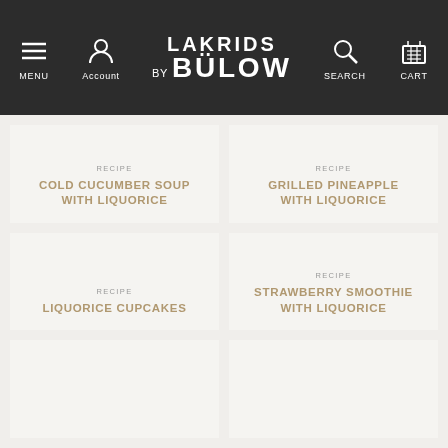LAKRIDS BY BÜLOW — MENU, Account, SEARCH, CART
RECIPE
COLD CUCUMBER SOUP WITH LIQUORICE
RECIPE
GRILLED PINEAPPLE WITH LIQUORICE
RECIPE
LIQUORICE CUPCAKES
RECIPE
STRAWBERRY SMOOTHIE WITH LIQUORICE